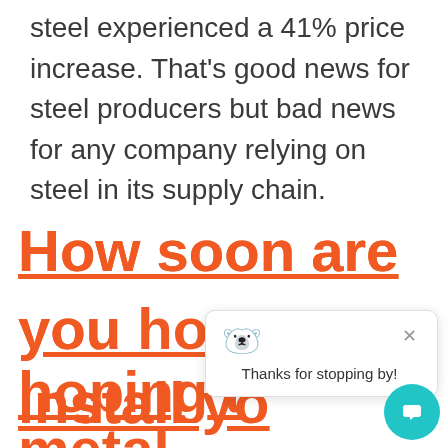steel experienced a 41% price increase. That's good news for steel producers but bad news for any company relying on steel in its supply chain.
How soon are you hoping to install your metal building?
[Figure (other): Chat popup overlay with mascot bear emoji, close button (×), and text 'Thanks for stopping by!' along with a teal circular chat button in the bottom-right corner.]